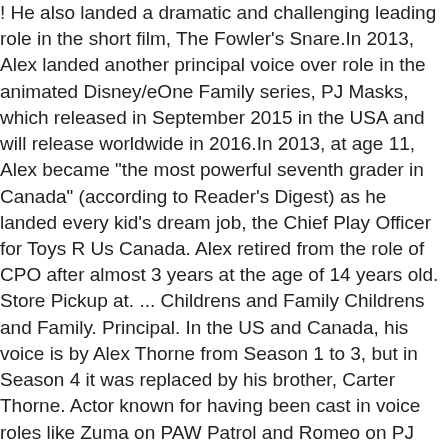! He also landed a dramatic and challenging leading role in the short film, The Fowler's Snare.In 2013, Alex landed another principal voice over role in the animated Disney/eOne Family series, PJ Masks, which released in September 2015 in the USA and will release worldwide in 2016.In 2013, at age 11, Alex became "the most powerful seventh grader in Canada" (according to Reader's Digest) as he landed every kid's dream job, the Chief Play Officer for Toys R Us Canada. Alex retired from the role of CPO after almost 3 years at the age of 14 years old. Store Pickup at. ... Childrens and Family Childrens and Family. Principal. In the US and Canada, his voice is by Alex Thorne from Season 1 to 3, but in Season 4 it was replaced by his brother, Carter Thorne. Actor known for having been cast in voice roles like Zuma on PAW Patrol and Romeo on PJ Masks, winning a Joey Award for for his work on PAW Patrol in 2014. Official Sites, View agent, publicist, legal and company contact details on IMDbPro, Celebrity Names with